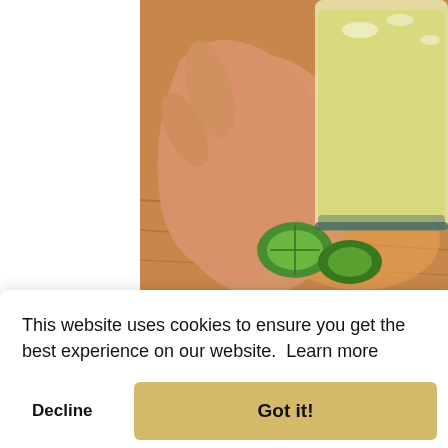[Figure (photo): Close-up photo of a hand holding a glass of margarita with lime wedges on a wooden surface]
This website uses cookies to ensure you get the best experience on our website.  Learn more
Decline
Got it!
[Figure (photo): Partial photo of a wooden surface, bottom of page]